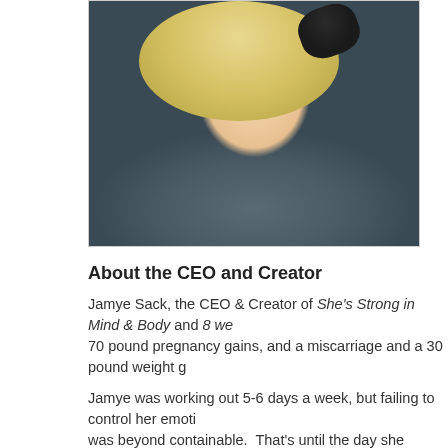[Figure (photo): Smiling blonde woman with blue eyes wearing a dark top and a dark polka-dot hair accessory, photographed outdoors]
About the CEO and Creator
Jamye Sack, the CEO & Creator of She's Strong in Mind & Body and 8 we... 70 pound pregnancy gains, and a miscarriage and a 30 pound weight g...
Jamye was working out 5-6 days a week, but failing to control her emoti... was beyond containable. That's until the day she looked at herself in th...
Through a series of social media posts and vulnerable videos, she wen... results! Her pants buttoned again.
Not only that, other women were secretly contacting her asking her for...
Jamye dug deep and asked herself HOW she finished her masters degr... paid off over $150,000 in debt, started a business, and transformed her...